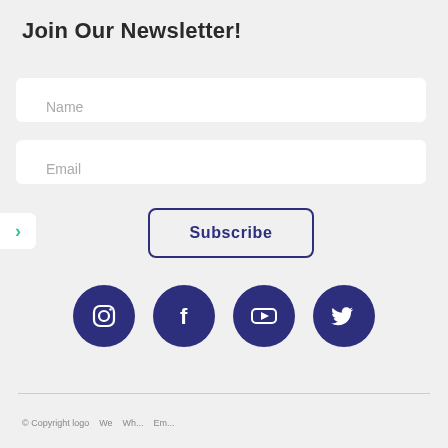Join Our Newsletter!
Name
Email
Subscribe
[Figure (infographic): Four social media icons (Instagram, Facebook, YouTube, Twitter) as white icons on dark purple circular backgrounds]
© Copyright logo We Wh... Em...